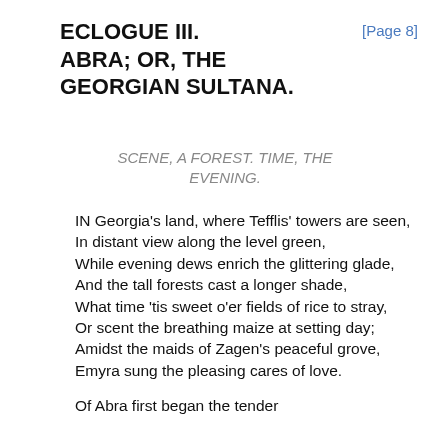[Page 8]
ECLOGUE III. ABRA; OR, THE GEORGIAN SULTANA.
SCENE, A FOREST. TIME, THE EVENING.
IN Georgia's land, where Tefflis' towers are seen,
In distant view along the level green,
While evening dews enrich the glittering glade,
And the tall forests cast a longer shade,
What time 'tis sweet o'er fields of rice to stray,
Or scent the breathing maize at setting day;
Amidst the maids of Zagen's peaceful grove,
Emyra sung the pleasing cares of love.
Of Abra first began the tender